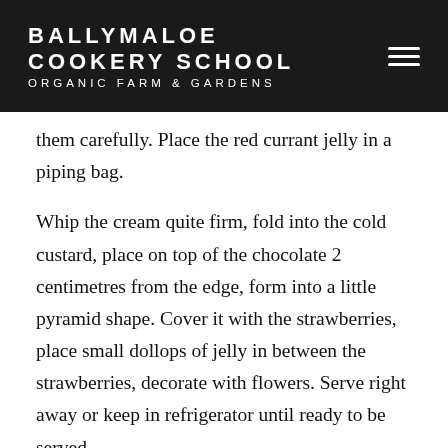BALLYMALOE COOKERY SCHOOL ORGANIC FARM & GARDENS
them carefully. Place the red currant jelly in a piping bag.
Whip the cream quite firm, fold into the cold custard, place on top of the chocolate 2 centimetres from the edge, form into a little pyramid shape. Cover it with the strawberries, place small dollops of jelly in between the strawberries, decorate with flowers. Serve right away or keep in refrigerator until ready to be served.
*real marzipan with 60% almonds